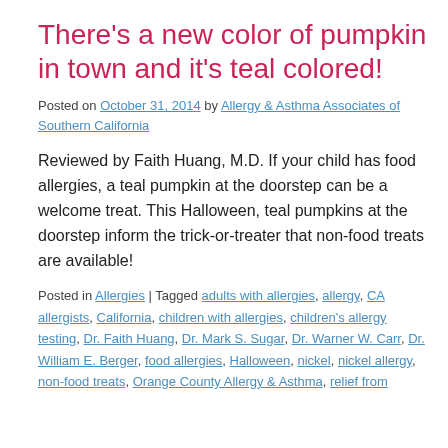There's a new color of pumpkin in town and it's teal colored!
Posted on October 31, 2014 by Allergy & Asthma Associates of Southern California
Reviewed by Faith Huang, M.D. If your child has food allergies, a teal pumpkin at the doorstep can be a welcome treat. This Halloween, teal pumpkins at the doorstep inform the trick-or-treater that non-food treats are available!
Posted in Allergies | Tagged adults with allergies, allergy, CA allergists, California, children with allergies, children's allergy testing, Dr. Faith Huang, Dr. Mark S. Sugar, Dr. Warner W. Carr, Dr. William E. Berger, food allergies, Halloween, nickel, nickel allergy, non-food treats, Orange County Allergy & Asthma, relief from